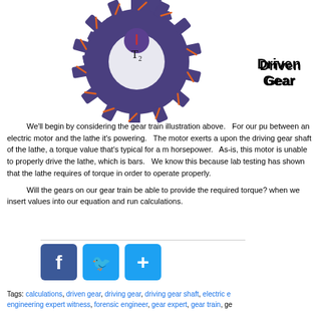[Figure (illustration): A large purple gear (driven gear) with orange/red tick marks around its teeth indicating force/torque vectors. A small purple circle at top center represents the hub, with label T2 below it. Text 'Driven Gear' appears to the right in bold black.]
We'll begin by considering the gear train illustration above. For our purposes, this gear train is situated between an electric motor and the lathe it's powering. The motor exerts a torque upon the driving gear shaft of the lathe, a torque value that's typical for a motor of its horsepower. As-is, this motor is unable to properly drive the lathe, which is cutting metal bars. We know this because lab testing has shown that the lathe requires of torque in order to operate properly.
Will the gears on our gear train be able to provide the required torque? We'll find out when we insert values into our equation and run calculations.
[Figure (illustration): Social sharing buttons: Facebook (blue with f), Twitter (blue with bird), and a blue plus/share button.]
Tags: calculations, driven gear, driving gear, driving gear shaft, electric engineering expert witness, forensic engineer, gear expert, gear train, ge...